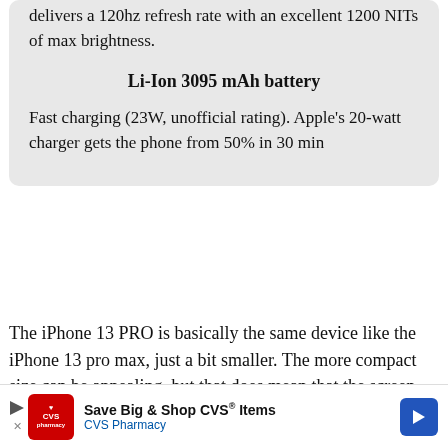delivers a 120hz refresh rate with an excellent 1200 NITs of max brightness.
Li-Ion 3095 mAh battery
Fast charging (23W, unofficial rating). Apple's 20-watt charger gets the phone from 50% in 30 min
The iPhone 13 PRO is basically the same device like the iPhone 13 pro max, just a bit smaller. The more compact size can be appealing, but that does mean that the screen and battery aren't so big.  Apple has taken a different approach this year regarding its iPhone PRO
[Figure (other): CVS Pharmacy advertisement banner: Save Big & Shop CVS® Items]